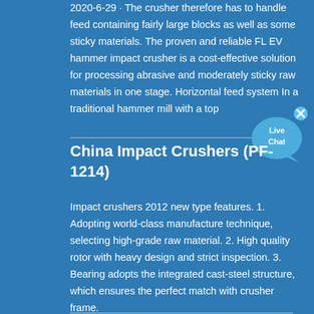2020-6-29 · The crusher therefore has to handle feed containing fairly large blocks as well as some sticky materials. The proven and reliable FL EV hammer impact crusher is a cost-effective solution for processing abrasive and moderately sticky raw materials in one stage. Horizontal feed system In a traditional hammer mill with a top
[Figure (other): Live Chat bubble icon in the upper right corner]
China Impact Crushers (PF-1214)
Impact crushers 2012 new type features. 1. Adopting world-class manufacture technique, selecting high-grade raw material. 2. High quality rotor with heavy design and strict inspection. 3. Bearing adopts the integrated cast-steel structure, which ensures the perfect match with crusher frame.